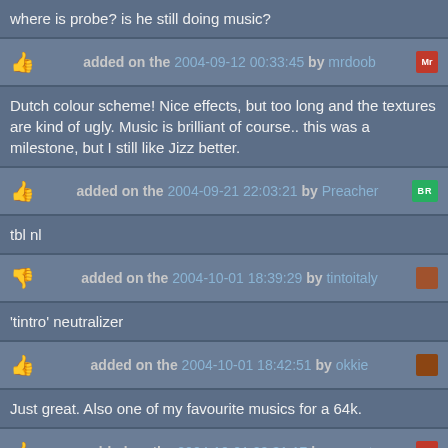where is probe? is he still doing music?
added on the 2004-09-12 00:33:45 by mrdoob
Dutch colour scheme! Nice effects, but too long and the textures are kind of ugly. Music is brilliant of course.. this was a milestone, but I still like Jizz better.
added on the 2004-09-21 22:03:21 by Preacher
tbl nl
added on the 2004-10-01 18:39:29 by tintoitaly
'tintro' neutralizer
added on the 2004-10-01 18:42:51 by okkie
Just great. Also one of my favourite musics for a 64k.
added on the 2004-10-01 20:31:17 by exocet
added on the 2004-10-01 20:38:22 by p01